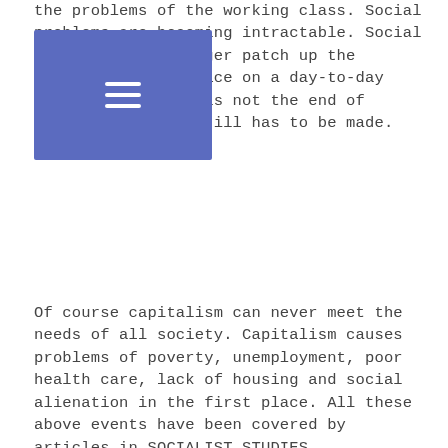the problems of the working class. Social problems are becoming intractable. Social reforms can no longer patch up the problems workers face on a day-to-day basis. Capitalism is not the end of history. History still has to be made.
Of course capitalism can never meet the needs of all society. Capitalism causes problems of poverty, unemployment, poor health care, lack of housing and social alienation in the first place. All these above events have been covered by articles in SOCIALIST STUDIES.
Something should be said of the articles which have appeared in SOCIALIST STUDIES. Foremost they are written by members of our Party and our Party alone. And they are written within the framework of the OBJECT AND DECLARATION OF PRINCIPLES of the Socialist Party of Great Britain to which we subscribe and